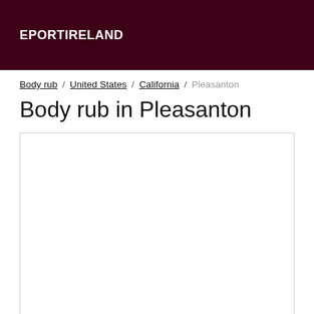EPORTIRELAND
Body rub / United States / California / Pleasanton
Body rub in Pleasanton
[Figure (other): Empty white content box with border]